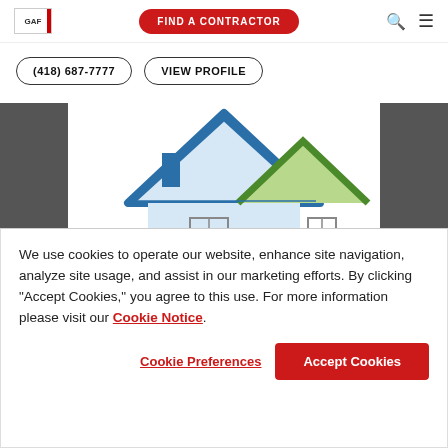[Figure (logo): GAF logo with red vertical bar on right side]
[Figure (infographic): FIND A CONTRACTOR button in red pill shape in nav]
(418) 687-7777
VIEW PROFILE
[Figure (logo): Construction Rénovation Toitures company logo with blue and green house rooflines]
We use cookies to operate our website, enhance site navigation, analyze site usage, and assist in our marketing efforts. By clicking "Accept Cookies," you agree to this use. For more information please visit our Cookie Notice.
Cookie Preferences
Accept Cookies